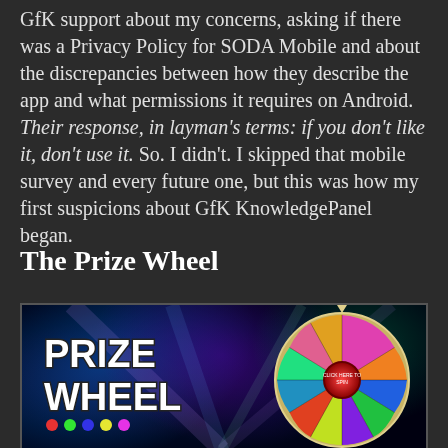GfK support about my concerns, asking if there was a Privacy Policy for SODA Mobile and about the discrepancies between how they describe the app and what permissions it requires on Android. Their response, in layman's terms: if you don't like it, don't use it. So. I didn't. I skipped that mobile survey and every future one, but this was how my first suspicions about GfK KnowledgePanel began.
The Prize Wheel
[Figure (photo): Prize wheel game screenshot showing colorful spinning wheel with multiple colored segments (pink, orange, blue, green, purple, red, etc.) and text 'PRIZE WHEEL' in bold white letters on the left side against a dark glowing background with light rays.]